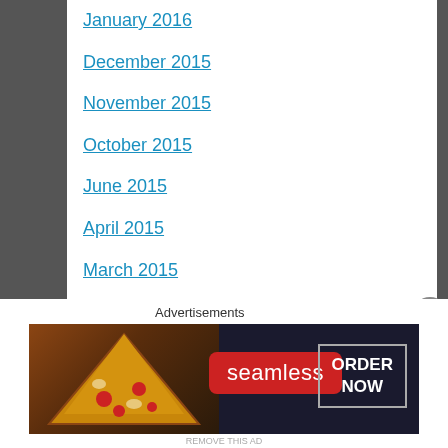January 2016
December 2015
November 2015
October 2015
June 2015
April 2015
March 2015
February 2015
January 2015
November 2014
September 2014
August 2014
July 2014
Advertisements
[Figure (screenshot): Seamless food delivery advertisement banner with pizza image on left, Seamless logo in red, and ORDER NOW button on right]